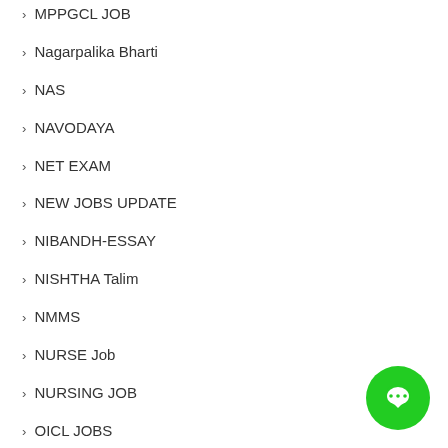› MPPGCL JOB
› Nagarpalika Bharti
› NAS
› NAVODAYA
› NET EXAM
› NEW JOBS UPDATE
› NIBANDH-ESSAY
› NISHTHA Talim
› NMMS
› NURSE Job
› NURSING JOB
› OICL JOBS
› Ojas Job
› OLD Q.PAPERS
› Olympics